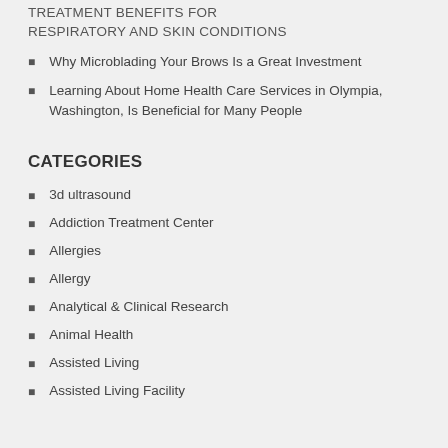TREATMENT BENEFITS FOR RESPIRATORY AND SKIN CONDITIONS
Why Microblading Your Brows Is a Great Investment
Learning About Home Health Care Services in Olympia, Washington, Is Beneficial for Many People
CATEGORIES
3d ultrasound
Addiction Treatment Center
Allergies
Allergy
Analytical & Clinical Research
Animal Health
Assisted Living
Assisted Living Facility